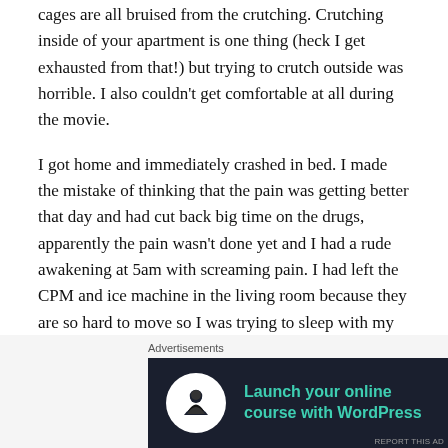cages are all bruised from the crutching. Crutching inside of your apartment is one thing (heck I get exhausted from that!) but trying to crutch outside was horrible. I also couldn't get comfortable at all during the movie.
I got home and immediately crashed in bed. I made the mistake of thinking that the pain was getting better that day and had cut back big time on the drugs, apparently the pain wasn't done yet and I had a rude awakening at 5am with screaming pain. I had left the CPM and ice machine in the living room because they are so hard to move so I was trying to sleep with my leg just propped up on a pillow. That didn't work for me at all. I crutched my bruised self into the kitchen to fill up the ice machine and
Advertisements
[Figure (other): Advertisement banner with dark navy background. Shows a white circle with a tree/person icon on the left, teal text 'Launch your online course with WordPress' in the center, and 'Learn More' in white underlined text on the right.]